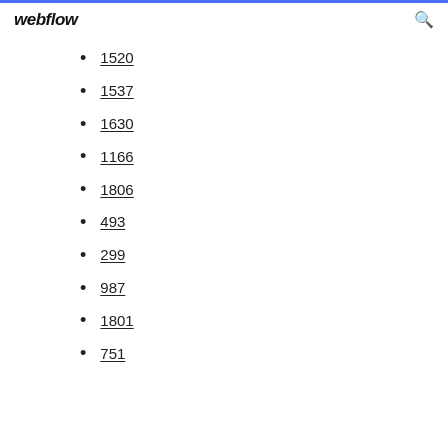webflow
1520
1537
1630
1166
1806
493
299
987
1801
751